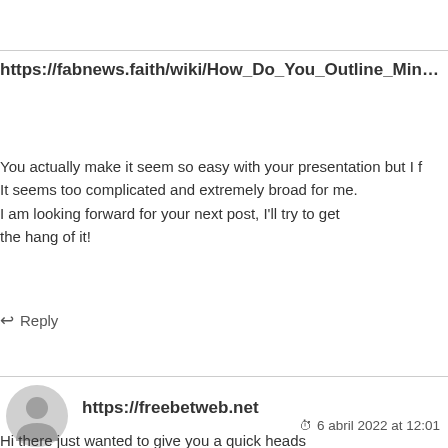https://fabnews.faith/wiki/How_Do_You_Outline_Min…
You actually make it seem so easy with your presentation but I f It seems too complicated and extremely broad for me. I am looking forward for your next post, I'll try to get the hang of it!
↩ Reply
https://freebetweb.net
6 abril 2022 at 12:01
Hi there just wanted to give you a quick heads